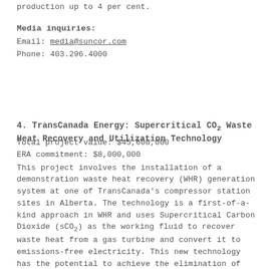production up to 4 per cent.
Media inquiries:
Email: media@suncor.com
Phone: 403.296.4000
4. TransCanada Energy: Supercritical CO₂ Waste Heat Recovery and Utilization Technology
Total project value: $45,600,000
ERA commitment: $8,000,000
This project involves the installation of a demonstration waste heat recovery (WHR) generation system at one of TransCanada’s compressor station sites in Alberta. The technology is a first-of-a-kind approach in WHR and uses Supercritical Carbon Dioxide (sCO₂) as the working fluid to recover waste heat from a gas turbine and convert it to emissions-free electricity. This new technology has the potential to achieve the elimination of water use...